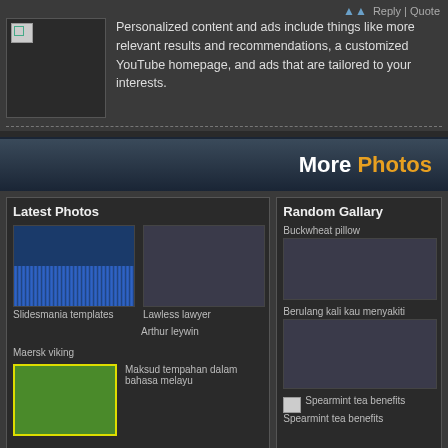Reply | Quote
Personalized content and ads include things like more relevant results and recommendations, a customized YouTube homepage, and ads that are tailored to your interests.
More Photos
Latest Photos
Slidesmania templates
Lawless lawyer
Arthur leywin
Maersk viking
Maksud tempahan dalam bahasa melayu
Random Gallary
Buckwheat pillow
Berulang kali kau menyakiti
Spearmint tea benefits
Spearmint tea benefits